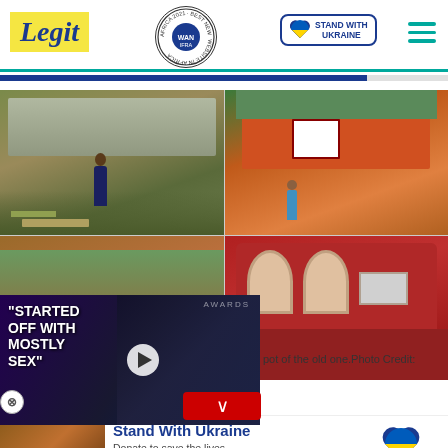Legit — WAN IFRA Best News Website in Africa 2021 — Stand With Ukraine
[Figure (photo): Four-panel photo grid showing before/after construction of a house: top-left man standing in muddy yard near old structure, top-right orange/red small house exterior, bottom-left earthwork/foundation excavation, bottom-right completed red painted house exterior]
[Figure (screenshot): Video overlay with text 'STARTED OFF WITH MOSTLY SEX' in white bold on dark purple background, with two people (man in suit and woman in green dress) and a play button]
pot of the old one.Photo Credit:
[Figure (photo): Bottom promo image showing a child/person]
Stand With Ukraine
Donate to save the lives of millions of children